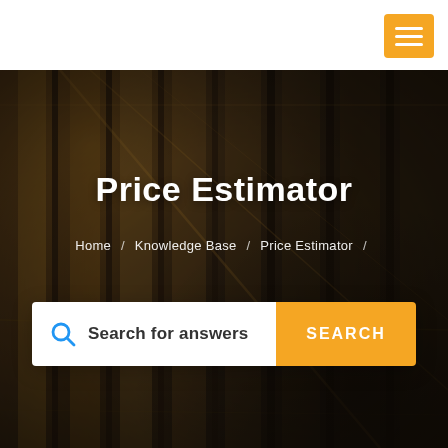[Figure (screenshot): Website screenshot showing a 'Price Estimator' page header with a background photo of a modern interior with glass panels and warm lighting. Contains a hamburger menu button (orange), the page title 'Price Estimator', breadcrumb navigation 'Home / Knowledge Base / Price Estimator /', and a search bar with 'Search for answers' placeholder and orange SEARCH button.]
Price Estimator
Home / Knowledge Base / Price Estimator /
Search for answers